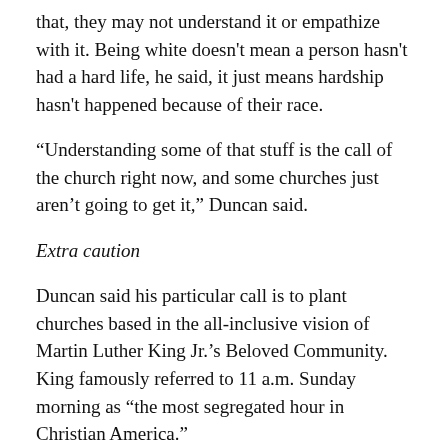that, they may not understand it or empathize with it. Being white doesn't mean a person hasn't had a hard life, he said, it just means hardship hasn't happened because of their race.
“Understanding some of that stuff is the call of the church right now, and some churches just aren’t going to get it,” Duncan said.
Extra caution
Duncan said his particular call is to plant churches based in the all-inclusive vision of Martin Luther King Jr.’s Beloved Community. King famously referred to 11 a.m. Sunday morning as “the most segregated hour in Christian America.”
For now, Duncan is talking and preaching in a virtual space while building Jubilee Collective, and he’s